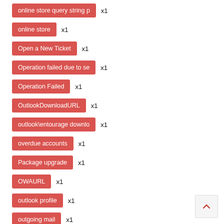online store query string p x1
online store x1
Open a New Ticket x1
Operation failed due to se x1
Operation Failed x1
OutlookDownloadURL x1
outlook\entourage downlo x1
overdue accounts x1
Package upgrade x1
OWAURL x1
outlook profile x1
outgoing mail x1
Organizational Unit x1